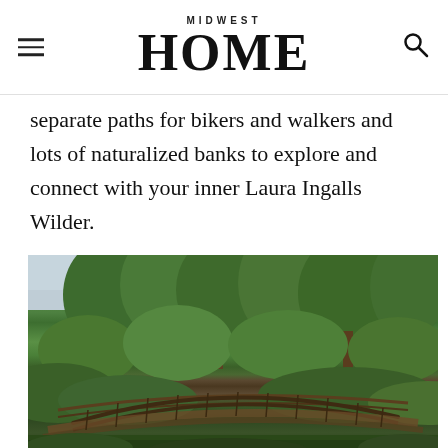MIDWEST HOME
separate paths for bikers and walkers and lots of naturalized banks to explore and connect with your inner Laura Ingalls Wilder.
[Figure (photo): A wooden arched footbridge with metal railings set among lush green trees and naturalized riverbank vegetation, photographed in summer.]